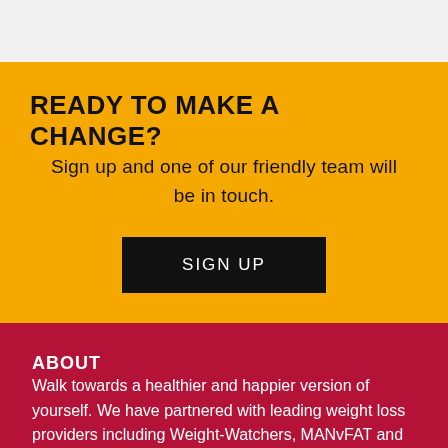READY TO MAKE A CHANGE?
Sign up and one of our friendly team will be in touch.
SIGN UP
ABOUT
Walk towards a healthier and happier version of yourself. We have partnered with leading weight loss providers including Weight-Watchers, MANvFAT and Slimming World to deliver ongoing support as you